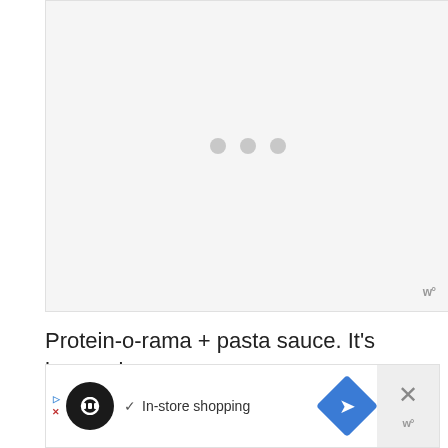[Figure (other): Loading placeholder image with three gray dots centered on a light gray background, with a small 'w°' logo in the bottom right corner]
Protein-o-rama + pasta sauce. It's happening.
[Figure (other): Advertisement bar showing a black circular icon with overlapping diamond/infinity logo, checkmark with 'In-store shopping' text, blue diamond arrow icon, and a close button with w° logo]